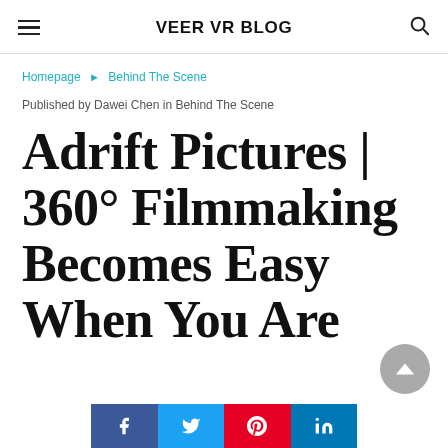VEER VR BLOG
Homepage » Behind The Scene
Published by Dawei Chen in Behind The Scene
Adrift Pictures | 360° Filmmaking Becomes Easy When You Are